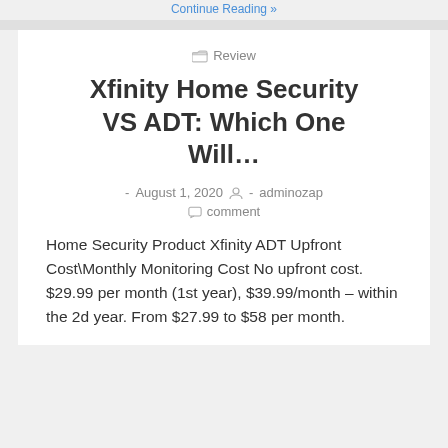Continue Reading »
Review
Xfinity Home Security VS ADT: Which One Will…
- August 1, 2020  - adminozap  comment
Home Security Product Xfinity ADT Upfront Cost\Monthly Monitoring Cost No upfront cost. $29.99 per month (1st year), $39.99/month – within the 2d year. From $27.99 to $58 per month.